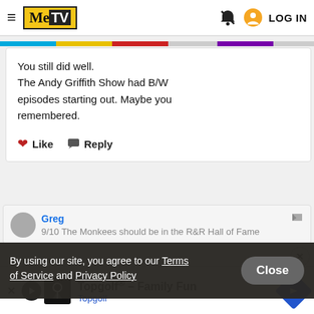≡ MeTV | LOG IN
You still did well.
The Andy Griffith Show had B/W episodes starting out. Maybe you remembered.
♥ Like  💬 Reply
Greg
9/10 The Monkees should be in the R&R Hall of Fame
By using our site, you agree to our Terms of Service and Privacy Policy
Close
[Figure (screenshot): Topgolf advertisement banner with logo and text 'Topgolf® - Family Fun Topgolf']